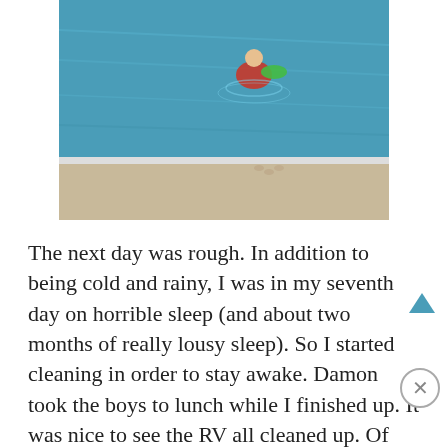[Figure (photo): A child swimming in a blue pool near the edge, wearing a red swimsuit and holding a green flotation device.]
The next day was rough. In addition to being cold and rainy, I was in my seventh day on horrible sleep (and about two months of really lousy sleep). So I started cleaning in order to stay awake. Damon took the boys to lunch while I finished up. It was nice to see the RV all cleaned up. Of course, it didn't last -the boys started taking toys out the instant they got home. The rest of the night was long and I didn't go to bed until 12. And, as many of you
Advertisements
[Figure (screenshot): DuckDuckGo advertisement banner: orange section with text 'Search, browse, and email with more privacy. All in One Free App' and dark section with DuckDuckGo logo and text 'DuckDuckGo'.]